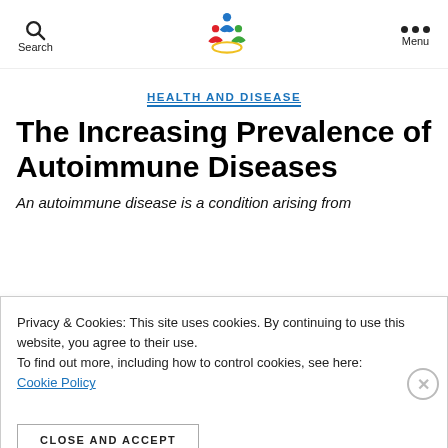Search | [logo] | Menu
HEALTH AND DISEASE
The Increasing Prevalence of Autoimmune Diseases
An autoimmune disease is a condition arising from
Privacy & Cookies: This site uses cookies. By continuing to use this website, you agree to their use.
To find out more, including how to control cookies, see here:
Cookie Policy
CLOSE AND ACCEPT